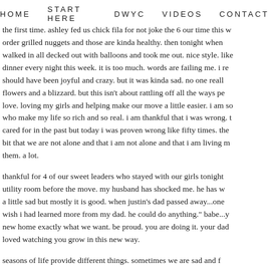HOME   START HERE   DWYC   VIDEOS   CONTACT
the first time. ashley fed us chick fila for not joke the 6 our time this w... order grilled nuggets and those are kinda healthy. then tonight when... walked in all decked out with balloons and took me out. nice style. like... dinner every night this week. it is too much. words are failing me. i re... should have been joyful and crazy. but it was kinda sad. no one reall... flowers and a blizzard. but this isn't about rattling off all the ways pe... love. loving my girls and helping make our move a little easier. i am s... who make my life so rich and so real. i am thankful that i was wrong. t... cared for in the past but today i was proven wrong like fifty times. the... bit that we are not alone and that i am not alone and that i am living m... them. a lot.
thankful for 4 of our sweet leaders who stayed with our girls tonight... utility room before the move. my husband has shocked me. he has w... a little sad but mostly it is good. when justin's dad passed away...one... wish i had learned more from my dad. he could do anything." babe...y... new home exactly what we want. be proud. you are doing it. your dad... loved watching you grow in this new way.
seasons of life provide different things. sometimes we are sad and f... and fun. it is the ebb and flow of life. the up and down. it's just how it... indebted to the people around us that allow our life to flow the way it...